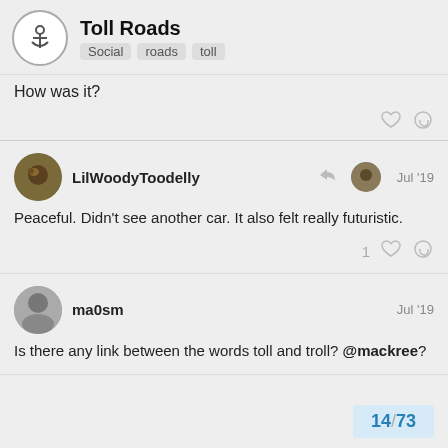Toll Roads — Social, roads, toll
How was it?
LilWoodyToodelly — Jul '19
Peaceful. Didn't see another car. It also felt really futuristic.
ma0sm — Jul '19
Is there any link between the words toll and troll? @mackree?
14 / 73